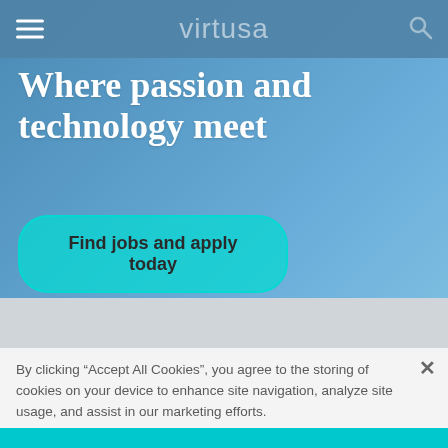virtusa
Where passion and technology meet
Find jobs and apply today
By clicking “Accept All Cookies”, you agree to the storing of cookies on your device to enhance site navigation, analyze site usage, and assist in our marketing efforts.
Cookies Settings